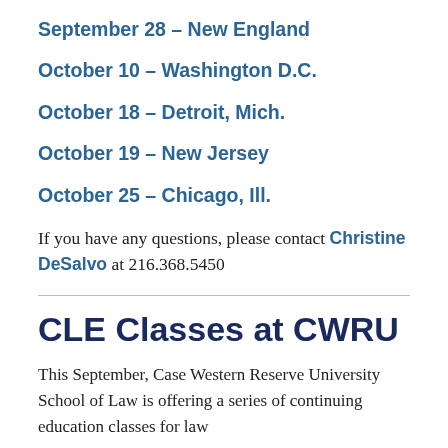September 28 – New England
October 10 – Washington D.C.
October 18 – Detroit, Mich.
October 19 – New Jersey
October 25 – Chicago, Ill.
If you have any questions, please contact Christine DeSalvo at 216.368.5450
CLE Classes at CWRU
This September, Case Western Reserve University School of Law is offering a series of continuing education classes for law